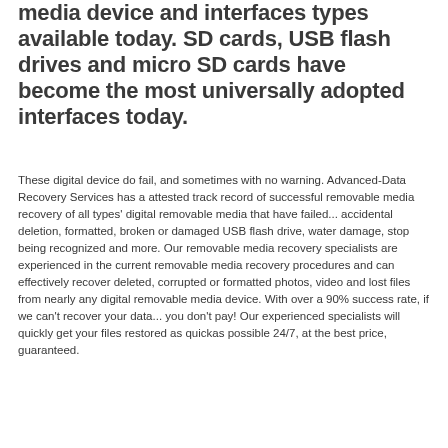media device and interfaces types available today. SD cards, USB flash drives and micro SD cards have become the most universally adopted interfaces today.
These digital device do fail, and sometimes with no warning. Advanced-Data Recovery Services has a attested track record of successful removable media recovery of all types' digital removable media that have failed... accidental deletion, formatted, broken or damaged USB flash drive, water damage, stop being recognized and more. Our removable media recovery specialists are experienced in the current removable media recovery procedures and can effectively recover deleted, corrupted or formatted photos, video and lost files from nearly any digital removable media device. With over a 90% success rate, if we can't recover your data... you don't pay! Our experienced specialists will quickly get your files restored as quickas possible 24/7, at the best price, guaranteed.